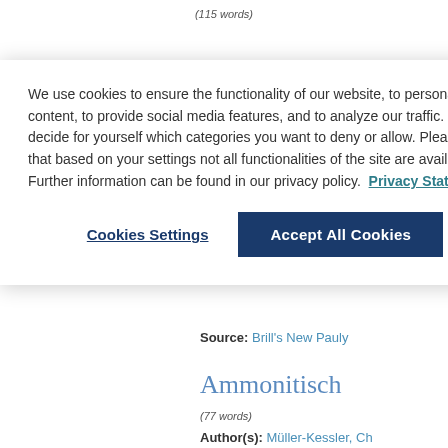(115 words)
Source: Brill's New Pauly
Ammonitisch
(77 words)
Author(s): Müller-Kessler, Ch
[English version] Kanaanäischer D
We use cookies to ensure the functionality of our website, to personalize content, to provide social media features, and to analyze our traffic. You can decide for yourself which categories you want to deny or allow. Please note that based on your settings not all functionalities of the site are available. Further information can be found in our privacy policy. Privacy Statement
Cookies Settings
Accept All Cookies